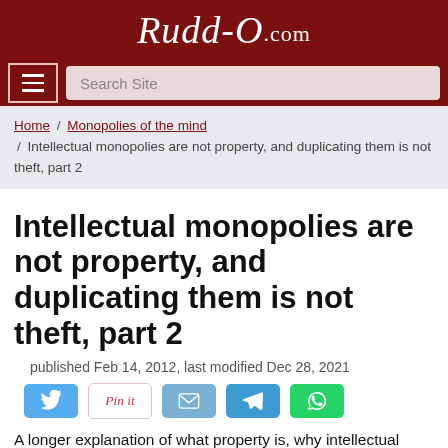Rudd-O.com
Search Site
Home / Monopolies of the mind / Intellectual monopolies are not property, and duplicating them is not theft, part 2
Intellectual monopolies are not property, and duplicating them is not theft, part 2
published Feb 14, 2012, last modified Dec 28, 2021
[Figure (other): Social share buttons: Twitter, Pin it, Email, Telegram, WhatsApp]
A longer explanation of what property is, why intellectual poverty (the proposition